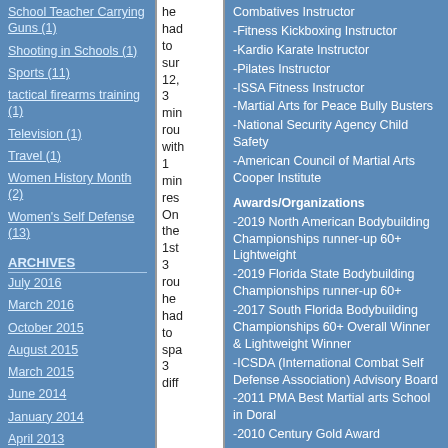School Teacher Carrying Guns (1)
Shooting in Schools (1)
Sports (11)
tactical firearms training (1)
Television (1)
Travel (1)
Women History Month (2)
Women's Self Defense (13)
ARCHIVES
July 2016
March 2016
October 2015
August 2015
March 2015
June 2014
January 2014
April 2013
he had to sur 12, 3 min rou with 1 min res On the 1st 3 rou he had to spa 3 diff
Combatives Instructor
-Fitness Kickboxing Instructor
-Kardio Karate Instructor
-Pilates Instructor
-ISSA Fitness Instructor
-Martial Arts for Peace Bully Busters
-National Security Agency Child Safety
-American Council of Martial Arts Cooper Institute
Awards/Organizations
-2019 North American Bodybuilding Championships runner-up 60+ Lightweight
-2019 Florida State Bodybuilding Championships runner-up 60+
-2017 South Florida Bodybuilding Championships 60+ Overall Winner & Lightweight Winner
-ICSDA (International Combat Self Defense Association) Advisory Board
-2011 PMA Best Martial arts School in Doral
-2010 Century Gold Award
-2010 Dr Rolando Espinosa K-8 School Award
-2009 Best of Doral Martial Arts Award
-2009 Century Mark of Excellence Award